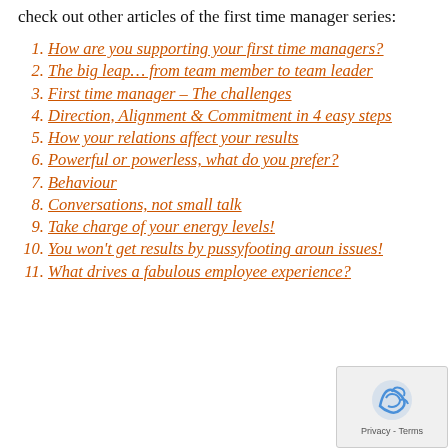check out other articles of the first time manager series:
How are you supporting your first time managers?
The big leap… from team member to team leader
First time manager – The challenges
Direction, Alignment & Commitment in 4 easy steps
How your relations affect your results
Powerful or powerless, what do you prefer?
Behaviour
Conversations, not small talk
Take charge of your energy levels!
You won't get results by pussyfooting around issues!
What drives a fabulous employee experience?